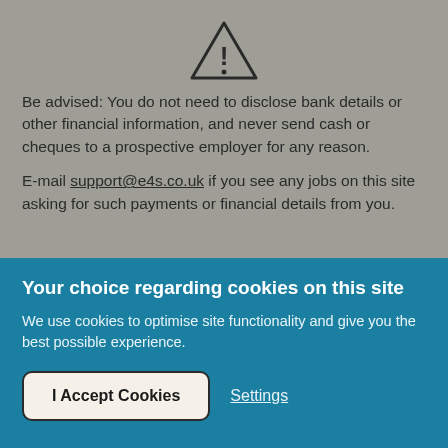[Figure (illustration): Warning triangle icon with exclamation mark]
Be advised: You do not need to disclose bank details or other financial information, and never send cash or cheques to a prospective employer for any reason.
E-mail support@e4s.co.uk if you see any jobs on this site asking for such payments or financial details from you.
Your choice regarding cookies on this site
We use cookies to optimise site functionality and give you the best possible experience.
I Accept Cookies
Settings